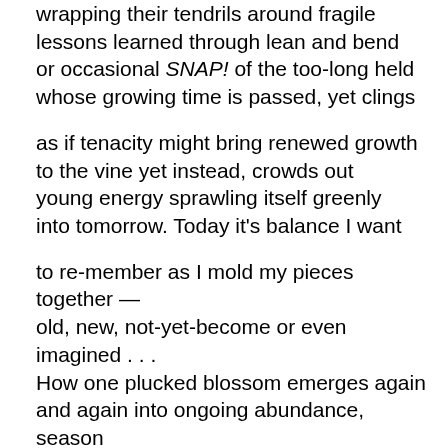wrapping their tendrils around fragile
lessons learned through lean and bend
or occasional SNAP! of the too-long held
whose growing time is passed, yet clings

as if tenacity might bring renewed growth
to the vine yet instead, crowds out
young energy sprawling itself greenly
into tomorrow. Today it's balance I want

to re-member as I mold my pieces together —
old, new, not-yet-become or even imagined . . .
How one plucked blossom emerges again
and again into ongoing abundance, season

upon season! Love is like that. Balance, too.
The more we practice, the easier it becomes.
The more we have, the more there is